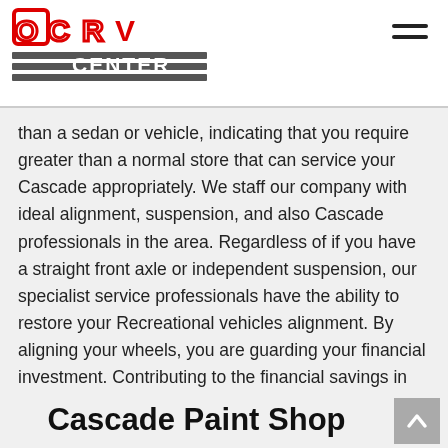OCRV CENTER
than a sedan or vehicle, indicating that you require greater than a normal store that can service your Cascade appropriately. We staff our company with ideal alignment, suspension, and also Cascade professionals in the area. Regardless of if you have a straight front axle or independent suspension, our specialist service professionals have the ability to restore your Recreational vehicles alignment. By aligning your wheels, you are guarding your financial investment. Contributing to the financial savings in constant gas mileage. Your gas mileage can be minimized as much as 10% by the drag created as a result of negative positioning. Get in touch with OCRV Today for all your Cascade Alignment needs.
Cascade Paint Shop